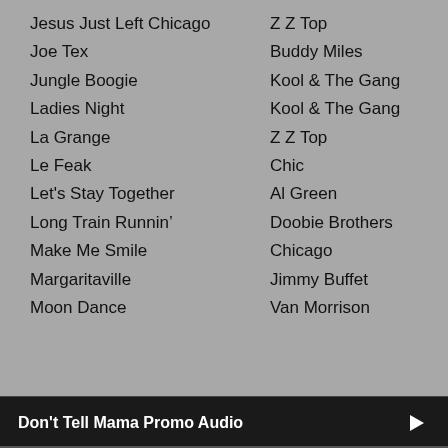Jesus Just Left Chicago | Z Z Top
Joe Tex | Buddy Miles
Jungle Boogie | Kool & The Gang
Ladies Night | Kool & The Gang
La Grange | Z Z Top
Le Feak | Chic
Let's Stay Together | Al Green
Long Train Runnin' | Doobie Brothers
Make Me Smile | Chicago
Margaritaville | Jimmy Buffet
Moon Dance | Van Morrison
Don't Tell Mama Promo Audio